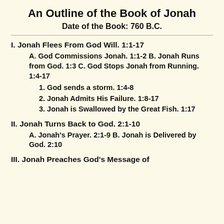An Outline of the Book of Jonah
Date of the Book: 760 B.C.
I. Jonah Flees From God Will. 1:1-17
A. God Commissions Jonah. 1:1-2 B. Jonah Runs from God. 1:3 C. God Stops Jonah from Running. 1:4-17
1. God sends a storm. 1:4-8
2. Jonah Admits His Failure. 1:8-17
3. Jonah is Swallowed by the Great Fish. 1:17
II. Jonah Turns Back to God. 2:1-10
A. Jonah's Prayer. 2:1-9 B. Jonah is Delivered by God. 2:10
III. Jonah Preaches God's Message of